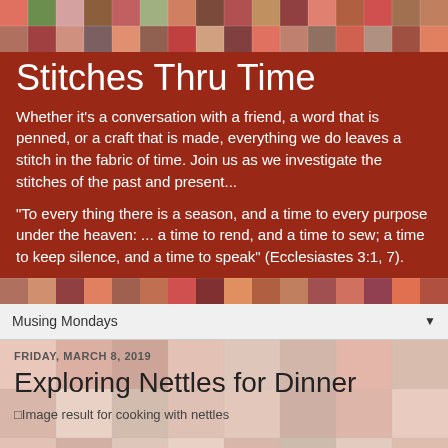[Figure (illustration): Quilt patchwork banner image with colorful fabric squares at the top]
Stitches Thru Time
Whether it's a conversation with a friend, a word that is penned, or a craft that is made, everything we do leaves a stitch in the fabric of time. Join us as we investigate the stitches of the past and present...
"To every thing there is a season, and a time to every purpose under the heaven: ... a time to rend, and a time to sew; a time to keep silence, and a time to speak" (Ecclesiastes 3:1, 7).
[Figure (illustration): Quilt patchwork divider strip]
Musing Mondays
[Figure (illustration): Quilt patchwork background for blog post area]
FRIDAY, MARCH 8, 2019
Exploring Nettles for Dinner
Image result for cooking with nettles